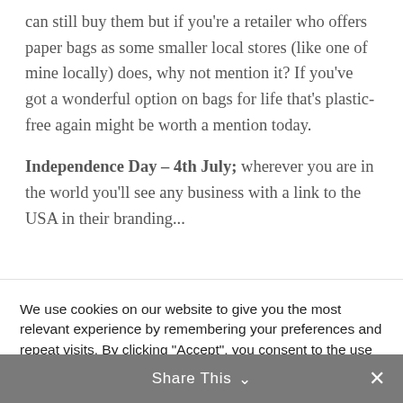can still buy them but if you're a retailer who offers paper bags as some smaller local stores (like one of mine locally) does, why not mention it? If you've got a wonderful option on bags for life that's plastic-free again might be worth a mention today.
Independence Day – 4th July; wherever you are in the world you'll see any business with a link to the USA in their branding...
We use cookies on our website to give you the most relevant experience by remembering your preferences and repeat visits. By clicking "Accept", you consent to the use of ALL the cookies.
Cookie settings | ACCEPT | REJECT .
Share This ∨  ✕